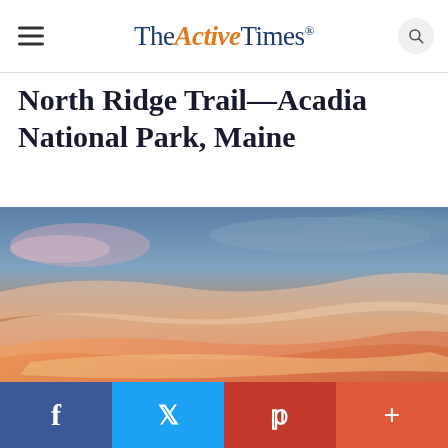TheActiveTimes
North Ridge Trail—Acadia National Park, Maine
[Figure (photo): Dramatic sunset sky over Acadia National Park with sweeping orange, pink, and blue clouds]
f  t  p  +